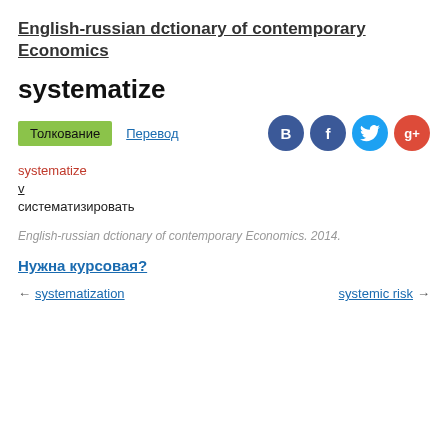English-russian dctionary of contemporary Economics
systematize
Толкование   Перевод
systematize
v
систематизировать
English-russian dctionary of contemporary Economics. 2014.
Нужна курсовая?
← systematization     systemic risk →